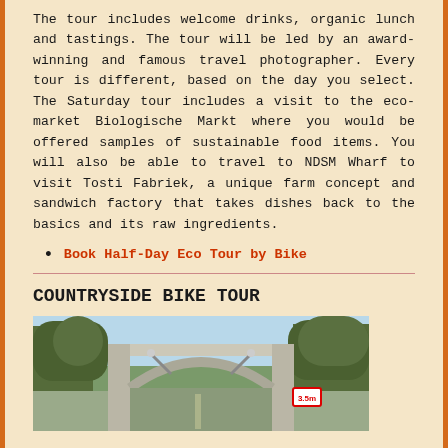The tour includes welcome drinks, organic lunch and tastings. The tour will be led by an award-winning and famous travel photographer. Every tour is different, based on the day you select. The Saturday tour includes a visit to the eco-market Biologische Markt where you would be offered samples of sustainable food items. You will also be able to travel to NDSM Wharf to visit Tosti Fabriek, a unique farm concept and sandwich factory that takes dishes back to the basics and its raw ingredients.
Book Half-Day Eco Tour by Bike
COUNTRYSIDE BIKE TOUR
[Figure (photo): Street or gate scene with an arched structure, trees, and a road sign showing 3.5m height limit]